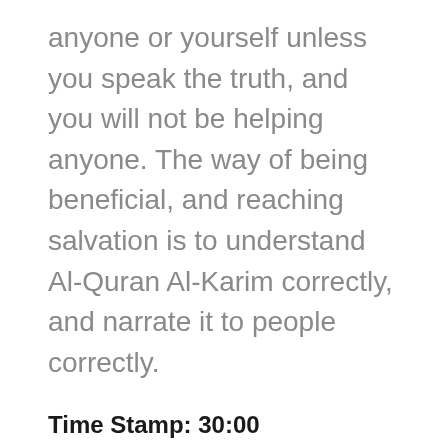anyone or yourself unless you speak the truth, and you will not be helping anyone. The way of being beneficial, and reaching salvation is to understand Al-Quran Al-Karim correctly, and narrate it to people correctly.
Time Stamp: 30:00
Even against all these treasons you will see a general amnesty. Prophet Muhammad would still forgive. A general amnesty, and treating